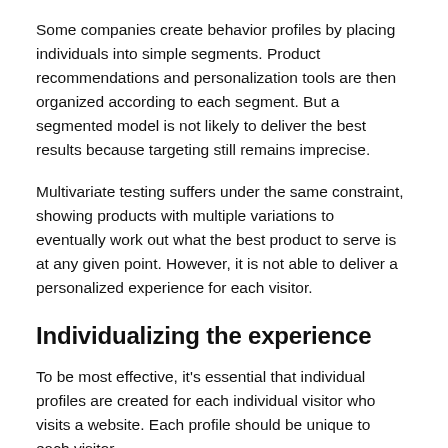Some companies create behavior profiles by placing individuals into simple segments. Product recommendations and personalization tools are then organized according to each segment. But a segmented model is not likely to deliver the best results because targeting still remains imprecise.
Multivariate testing suffers under the same constraint, showing products with multiple variations to eventually work out what the best product to serve is at any given point. However, it is not able to deliver a personalized experience for each visitor.
Individualizing the experience
To be most effective, it's essential that individual profiles are created for each individual visitor who visits a website. Each profile should be unique to each visitor.